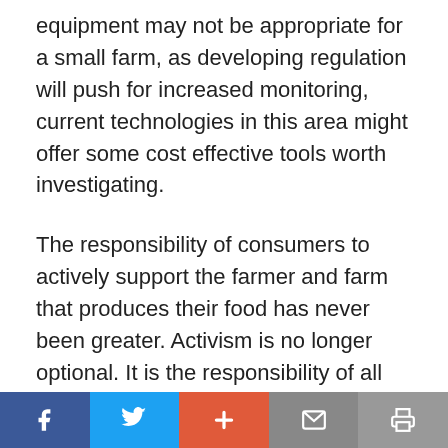equipment may not be appropriate for a small farm, as developing regulation will push for increased monitoring, current technologies in this area might offer some cost effective tools worth investigating.
The responsibility of consumers to actively support the farmer and farm that produces their food has never been greater. Activism is no longer optional. It is the responsibility of all consumers of traditional foods to participate in protecting both individual and farmer's rights to food and farm freedom. We must also strongly advocate for independent